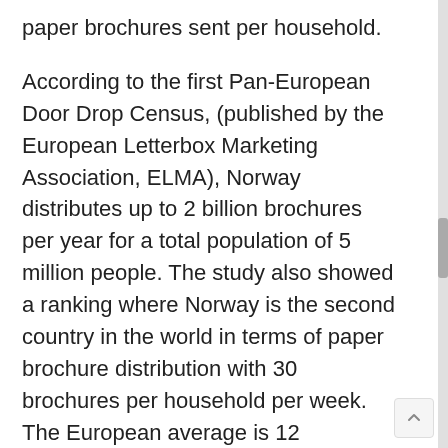paper brochures sent per household.
According to the first Pan-European Door Drop Census, (published by the European Letterbox Marketing Association, ELMA), Norway distributes up to 2 billion brochures per year for a total population of 5 million people. The study also showed a ranking where Norway is the second country in the world in terms of paper brochure distribution with 30 brochures per household per week. The European average is 12 brochures per household per week, so Norway distributes nearly three times as much as the European average.
ELMA researchers have analyzed the amount